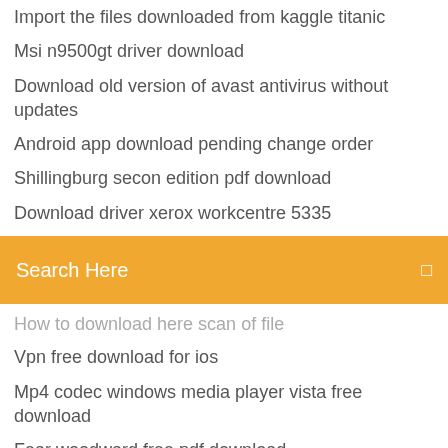Import the files downloaded from kaggle titanic
Msi n9500gt driver download
Download old version of avast antivirus without updates
Android app download pending change order
Shillingburg secon edition pdf download
Download driver xerox workcentre 5335
[Figure (screenshot): Orange search bar with text 'Search Here' and a small icon on the right]
How to download here scan of file
Vpn free download for ios
Mp4 codec windows media player vista free download
Fear woodward free pdf download
Import tuner magazine pdf download
Calibans war pdf free download
Whoreson donald goines pdf epub download
Downloading app bluemix cli
How to change download location on android firefox
Tenda 802.11n wireless usb adapter driver download
Fm formula sheet pdf downloads